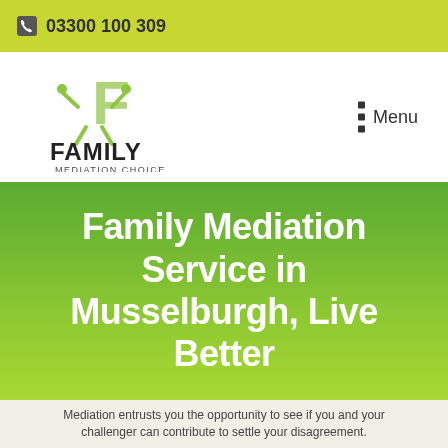03300 100 309
[Figure (logo): Family Mediation Choice logo — stylized green F with figure arms raised, black bold text FAMILY, smaller text MEDIATION CHOICE]
Menu
Family Mediation Service in Musselburgh, Live Better
Mediation entrusts you the opportunity to see if you and your challenger can contribute to settle your disagreement.